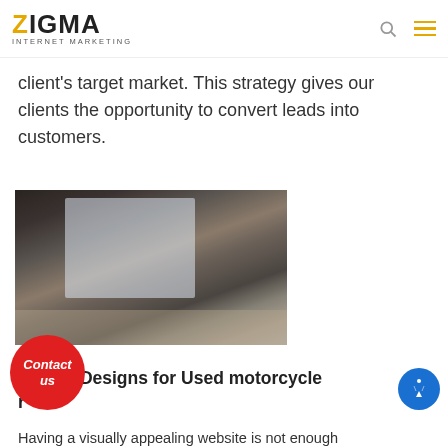ZIGMA INTERNET MARKETING
client's target market. This strategy gives our clients the opportunity to convert leads into customers.
[Figure (photo): Woman sitting at a desk working at a computer monitor, viewed from behind.]
m Web Designs for Used motorcycle r
Having a visually appealing website is not enough